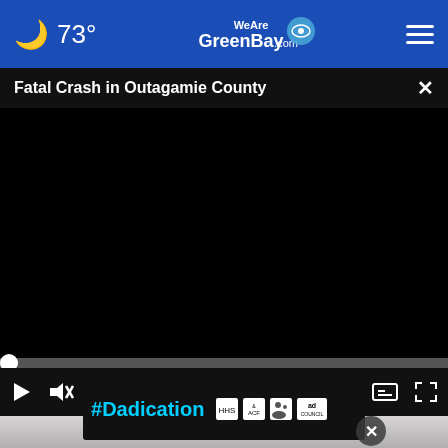73° WeAreGreenBay.com
Fatal Crash in Outagamie County
[Figure (screenshot): Black video player screen showing a paused or loading video with player controls at bottom: play button, mute button, timecode 00:00, captions button, and fullscreen button. A progress bar with a white dot handle is at 0%.]
[Figure (photo): Partial view of a person's face close-up, appearing to be in a medical or distressed setting.]
[Figure (other): Advertisement banner with cyan text '#Dadication' and logos for ACF, National Responsible Fatherhood Clearinghouse, and Ad Council on a dark background.]